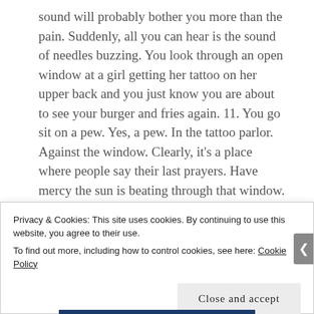sound will probably bother you more than the pain. Suddenly, all you can hear is the sound of needles buzzing. You look through an open window at a girl getting her tattoo on her upper back and you just know you are about to see your burger and fries again. 11. You go sit on a pew. Yes, a pew. In the tattoo parlor. Against the window. Clearly, it's a place where people say their last prayers. Have mercy the sun is beating through that window. Is it really that hot, or is it another sign to high tail it out of there. I think I should take my migraine medicine now.
Privacy & Cookies: This site uses cookies. By continuing to use this website, you agree to their use.
To find out more, including how to control cookies, see here: Cookie Policy